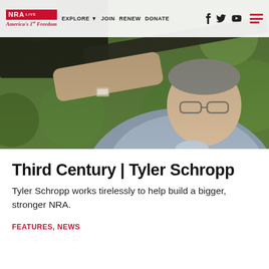NPA America's 1st Freedom | EXPLORE | JOIN | RENEW | DONATE
[Figure (photo): Man aiming a rifle at a shooting range, wearing glasses and a grey shirt, outdoors with green bokeh background]
Third Century | Tyler Schropp
Tyler Schropp works tirelessly to help build a bigger, stronger NRA.
FEATURES, NEWS